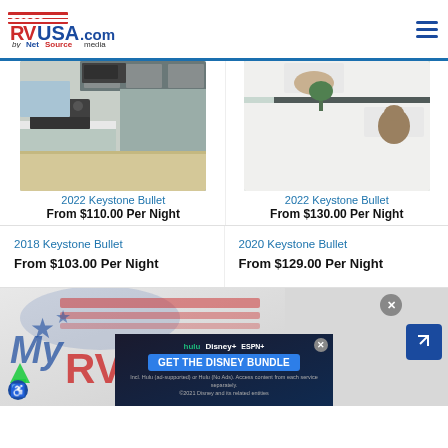RVUSA.com by NetSource media
[Figure (photo): Interior of 2022 Keystone Bullet RV showing kitchen and living area]
2022 Keystone Bullet
From $110.00 Per Night
[Figure (photo): Bunk bed area of 2022 Keystone Bullet RV with stuffed animal]
2022 Keystone Bullet
From $130.00 Per Night
2018 Keystone Bullet
From $103.00 Per Night
2020 Keystone Bullet
From $129.00 Per Night
[Figure (screenshot): Disney Bundle advertisement banner with Hulu, Disney+, ESPN+ logos and 'GET THE DISNEY BUNDLE' call to action]
[Figure (logo): My RVUSA.com logo overlay with American flag motif]